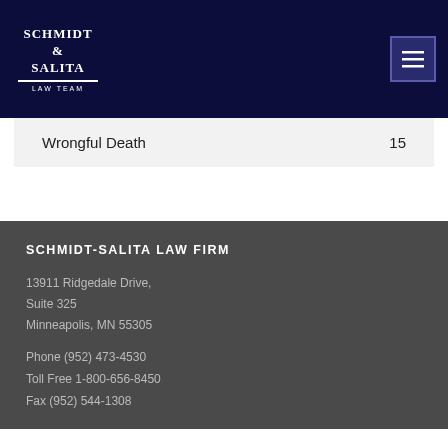Schmidt & Salita Law Team
| Wrongful Death | 15 |
SCHMIDT-SALITA LAW FIRM
13911 Ridgedale Drive, Suite 325
Minneapolis, MN 55305
Phone (952) 473-4530
Toll Free 1-800-656-8450
Fax (952) 544-1308